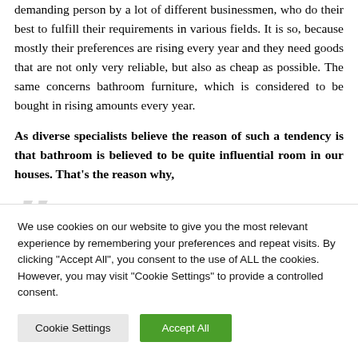demanding person by a lot of different businessmen, who do their best to fulfill their requirements in various fields. It is so, because mostly their preferences are rising every year and they need goods that are not only very reliable, but also as cheap as possible. The same concerns bathroom furniture, which is considered to be bought in rising amounts every year.
As diverse specialists believe the reason of such a tendency is that bathroom is believed to be quite influential room in our houses. That's the reason why,
We use cookies on our website to give you the most relevant experience by remembering your preferences and repeat visits. By clicking "Accept All", you consent to the use of ALL the cookies. However, you may visit "Cookie Settings" to provide a controlled consent.